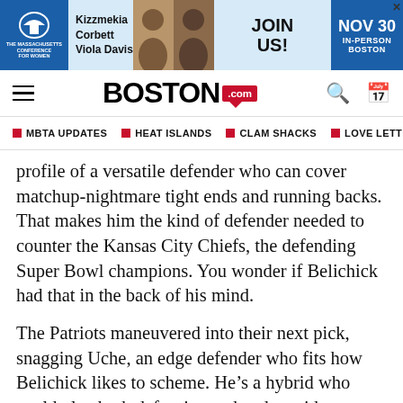[Figure (other): Advertisement banner for The Massachusetts Conference for Women featuring Kizzmekia Corbett and Viola Davis, with text JOIN US! NOV 30 IN-PERSON BOSTON]
BOSTON.com
MBTA UPDATES
HEAT ISLANDS
CLAM SHACKS
LOVE LETTE
profile of a versatile defender who can cover matchup-nightmare tight ends and running backs. That makes him the kind of defender needed to counter the Kansas City Chiefs, the defending Super Bowl champions. You wonder if Belichick had that in the back of his mind.
The Patriots maneuvered into their next pick, snagging Uche, an edge defender who fits how Belichick likes to scheme. He’s a hybrid who could play both defensive end and outside linebacker.